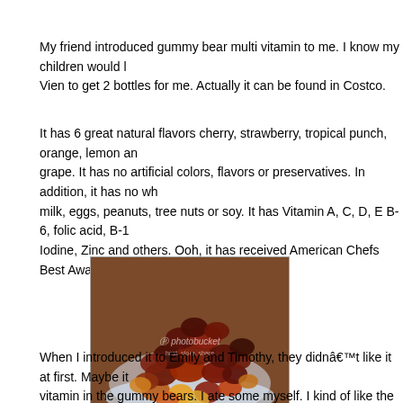My friend introduced gummy bear multi vitamin to me. I know my children would l... Vien to get 2 bottles for me. Actually it can be found in Costco.
It has 6 great natural flavors cherry, strawberry, tropical punch, orange, lemon an... grape. It has no artificial colors, flavors or preservatives. In addition, it has no whe... milk, eggs, peanuts, tree nuts or soy. It has Vitamin A, C, D, E B-6, folic acid, B-1... Iodine, Zinc and others. Ooh, it has received American Chefs Best Award 2009 B...
[Figure (photo): A bowl of gummy bear multivitamins in various colors (predominantly dark red/brown, some yellow/orange), with a Photobucket watermark overlay. The gummy bears are piled in what appears to be a white bowl.]
When I introduced it to Emily and Timothy, they didnâ€™t like it at first. Maybe it ... vitamin in the gummy bears. I ate some myself. I kind of like the yellow ones. I ga...